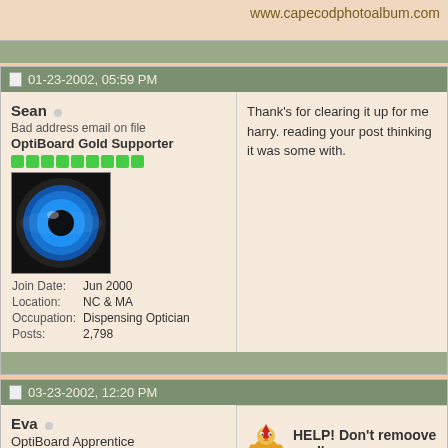www.capecodphotoalbum.com
01-23-2002, 05:59 PM
Sean
Bad address email on file
OptiBoard Gold Supporter
Join Date: Jun 2000
Location: NC & MA
Occupation: Dispensing Optician
Posts: 2,798
Thank's for clearing it up for me harry. reading your post thinking it was some with.
03-23-2002, 12:20 PM
Eva
OptiBoard Apprentice
HELP! Don't remoove me I'r